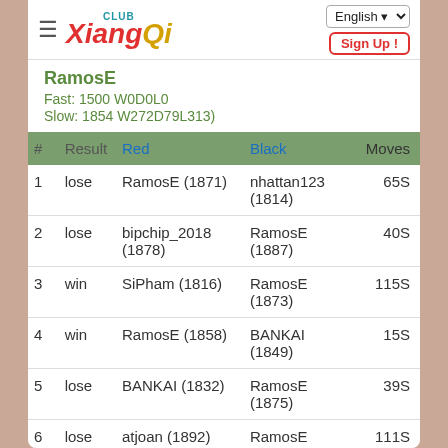Club XiangQi | English | Sign Up!
RamosE
Fast: 1500 W0D0L0
Slow: 1854 W272D79L313)
| # | Result | Red | Black | Moves |
| --- | --- | --- | --- | --- |
| 1 | lose | RamosE (1871) | nhattan123 (1814) | 65S |
| 2 | lose | bipchip_2018 (1878) | RamosE (1887) | 40S |
| 3 | win | SiPham (1816) | RamosE (1873) | 115S |
| 4 | win | RamosE (1858) | BANKAI (1849) | 15S |
| 5 | lose | BANKAI (1832) | RamosE (1875) | 39S |
| 6 | lose | atjoan (1892) | RamosE (1899) | 111S |